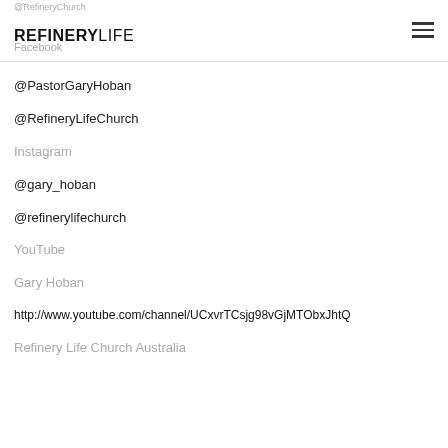@RefineryChurch REFINERYLIFE Facebook
@PastorGaryHoban
@RefineryLifeChurch
Instagram
@gary_hoban
@refinerylifechurch
YouTube
Gary Hoban
http://www.youtube.com/channel/UCxvrTCsjg98vGjMTObxJhtQ
Refinery Life Church Australia